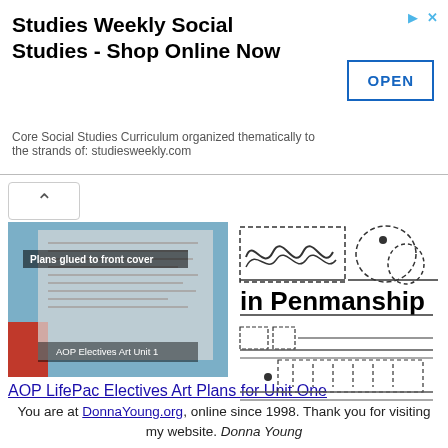[Figure (infographic): Advertisement banner for Studies Weekly Social Studies with OPEN button]
Studies Weekly Social Studies - Shop Online Now
Core Social Studies Curriculum organized thematically to the strands of: studiesweekly.com
[Figure (photo): Photo of AOP Electives Art Unit 1 workbook with plans glued to front cover]
AOP LifePac Electives Art Plans for Unit One
[Figure (illustration): Penmanship worksheet illustration showing cursive letter practice lines and dashed letter guides, with text 'in Penmanship']
You are at DonnaYoung.org, online since 1998. Thank you for visiting my website. Donna Young